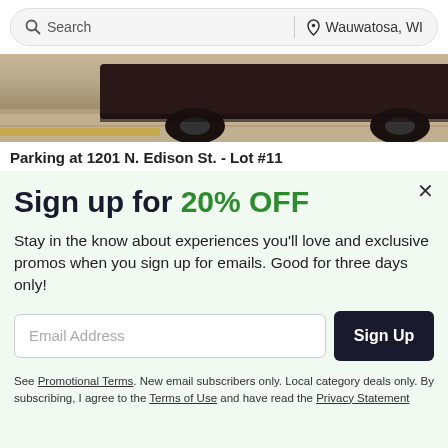Search | Wauwatosa, WI
[Figure (photo): Partial view of a dark SUV/truck on a parking lot surface]
Parking at 1201 N. Edison St. - Lot #11
Sign up for 20% OFF
Stay in the know about experiences you'll love and exclusive promos when you sign up for emails. Good for three days only!
Email Address
Sign Up
See Promotional Terms. New email subscribers only. Local category deals only. By subscribing, I agree to the Terms of Use and have read the Privacy Statement